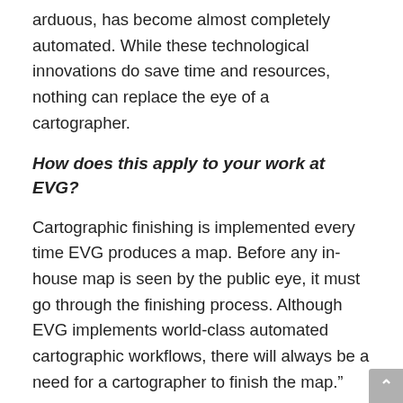arduous, has become almost completely automated. While these technological innovations do save time and resources, nothing can replace the eye of a cartographer.
How does this apply to your work at EVG?
Cartographic finishing is implemented every time EVG produces a map. Before any in-house map is seen by the public eye, it must go through the finishing process. Although EVG implements world-class automated cartographic workflows, there will always be a need for a cartographer to finish the map.”
Accuracy of data, symbology, annotations, and placements is crucial in today’s cartographic world. We hold ourselves to the highest quality standards and guarantee our customers that EVG cartographic products will accurately reflect the world in its current state. Contact us to find out